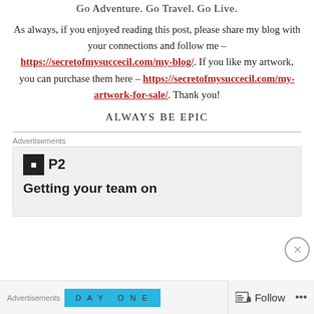Go Adventure. Go Travel. Go Live.
As always, if you enjoyed reading this post, please share my blog with your connections and follow me – https://secretofmysuccecil.com/my-blog/. If you like my artwork, you can purchase them here – https://secretofmysuccecil.com/my-artwork-for-sale/. Thank you!
ALWAYS BE EPIC
Advertisements
[Figure (logo): P2 logo with black square icon and bold P2 text, followed by partial text 'Getting your team on']
Advertisements
DAY ONE
Follow ...